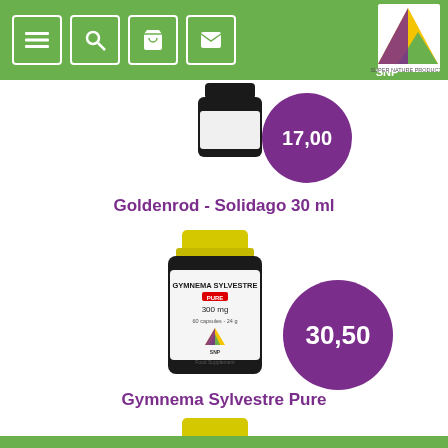SNP Super Nature Products - navigation header with menu, search, bag, mail icons
[Figure (photo): Partial product bottle at top of page with purple price badge showing 17,00]
Goldenrod - Solidago 30 ml
[Figure (photo): SNP Gymnema Sylvestre Pure 300mg supplement bottle with yellow cap, white label, price badge showing 30,50]
Gymnema Sylvestre Pure
[Figure (photo): Partial SNP Shark Cartilage 500mg supplement bottle with yellow cap at bottom of page]